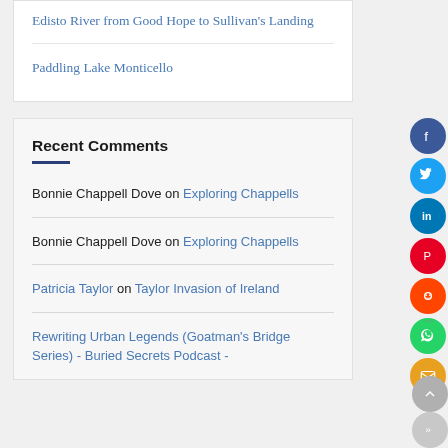Edisto River from Good Hope to Sullivan's Landing
Paddling Lake Monticello
Recent Comments
Bonnie Chappell Dove on Exploring Chappells
Bonnie Chappell Dove on Exploring Chappells
Patricia Taylor on Taylor Invasion of Ireland
Rewriting Urban Legends (Goatman's Bridge Series) - Buried Secrets Podcast -